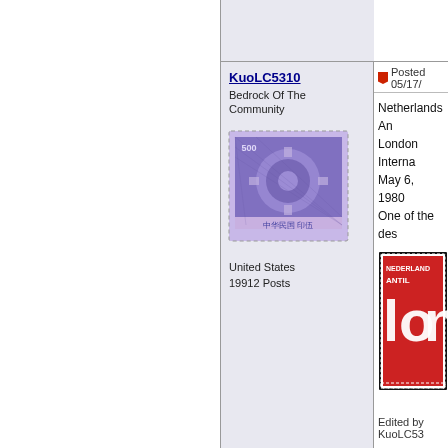KuoLC5310
Bedrock Of The Community
[Figure (photo): Avatar stamp image - Chinese stamp with floral design, purple/violet color, denomination 500]
United States
19912 Posts
Posted 05/17/
Netherlands An
London Interna
May 6, 1980
One of the des
[Figure (photo): Netherlands Antilles London International stamp - red background with white 'Lon' text and perforated border]
Edited by KuoLC53